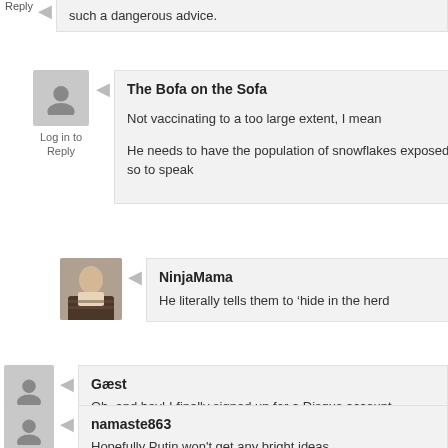such a dangerous advice.
Log in to Reply
The Bofa on the Sofa
Not vaccinating to a too large extent, I mean
He needs to have the population of snowflakes exposed, so to speak
NinjaMama
He literally tells them to 'hide in the herd
Log in to Reply
Gæst
Oh, and hey! I finally signed up for a Disqus account
Log in to Reply
namaste863
Hopefully Putin won't get any bright ideas.
Log in to Reply